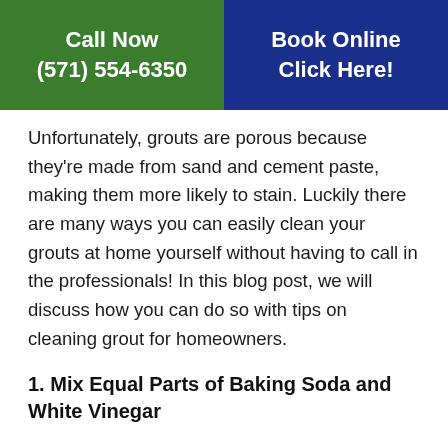Call Now (571) 554-6350
Book Online Click Here!
Unfortunately, grouts are porous because they're made from sand and cement paste, making them more likely to stain. Luckily there are many ways you can easily clean your grouts at home yourself without having to call in the professionals! In this blog post, we will discuss how you can do so with tips on cleaning grout for homeowners.
1. Mix Equal Parts of Baking Soda and White Vinegar
This mixture is great for grout cleaning because it is non-toxic and will not damage